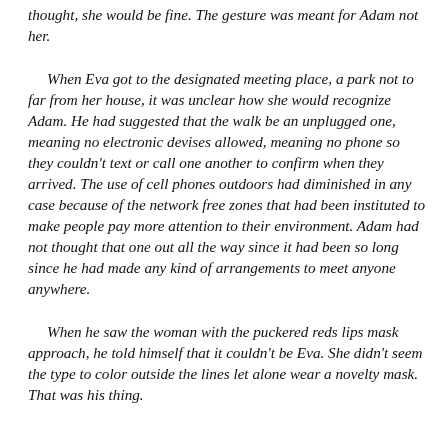thought, she would be fine. The gesture was meant for Adam not her.
When Eva got to the designated meeting place, a park not to far from her house, it was unclear how she would recognize Adam. He had suggested that the walk be an unplugged one, meaning no electronic devises allowed, meaning no phone so they couldn't text or call one another to confirm when they arrived. The use of cell phones outdoors had diminished in any case because of the network free zones that had been instituted to make people pay more attention to their environment. Adam had not thought that one out all the way since it had been so long since he had made any kind of arrangements to meet anyone anywhere.
When he saw the woman with the puckered reds lips mask approach, he told himself that it couldn't be Eva. She didn't seem the type to color outside the lines let alone wear a novelty mask. That was his thing.